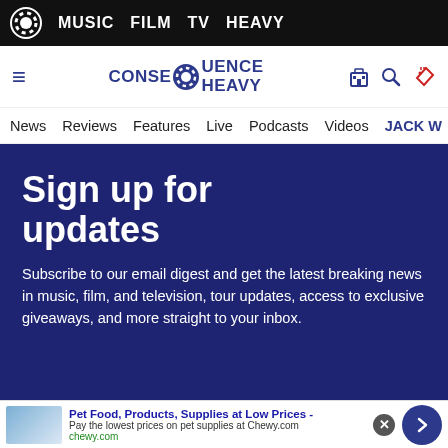MUSIC  FILM  TV  HEAVY
[Figure (logo): Consequence Heavy logo with gear icon and text CONSEQUENCE HEAVY]
News  Reviews  Features  Live  Podcasts  Videos  JACK W
Sign up for updates
Subscribe to our email digest and get the latest breaking news in music, film, and television, tour updates, access to exclusive giveaways, and more straight to your inbox.
Pet Food, Products, Supplies at Low Prices - Pay the lowest prices on pet supplies at Chewy.com chewy.com